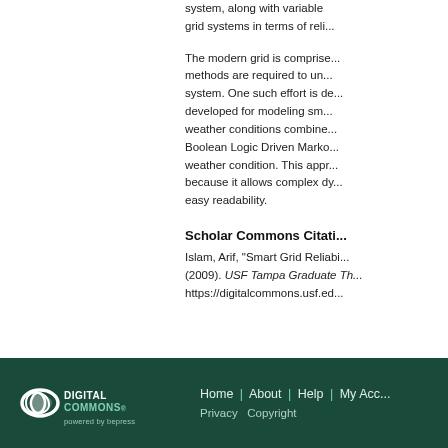system, along with variable grid systems in terms of reli...
The modern grid is comprised... methods are required to und... system. One such effort is de... developed for modeling sma... weather conditions combine... Boolean Logic Driven Marko... weather condition. This appr... because it allows complex dy... easy readability.
Scholar Commons Citati...
Islam, Arif, "Smart Grid Reliabi... (2009). USF Tampa Graduate Th... https://digitalcommons.usf.ed...
[Figure (logo): Digital Commons powered by bepress logo in white on dark green background]
Home | About | Help | My Acco... Privacy Copyright